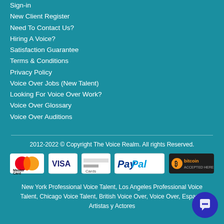Sign-in
New Client Register
Need To Contact Us?
Hiring A Voice?
Satisfaction Guarantee
Terms & Conditions
Privacy Policy
Voice Over Jobs (New Talent)
Looking For Voice Over Work?
Voice Over Glossary
Voice Over Auditions
2012-2022 © Copyright The Voice Realm. All rights Reserved.
[Figure (logo): Payment method logos: MasterCard, Visa, Credit Card, PayPal, Bitcoin Accepted Here]
New York Professional Voice Talent, Los Angeles Professional Voice Talent, Chicago Voice Talent, British Voice Over, Voice Over, Espanol Artistas y Actores